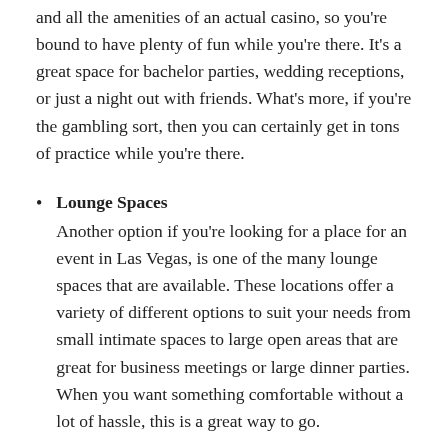and all the amenities of an actual casino, so you're bound to have plenty of fun while you're there. It's a great space for bachelor parties, wedding receptions, or just a night out with friends. What's more, if you're the gambling sort, then you can certainly get in tons of practice while you're there.
Lounge Spaces
Another option if you're looking for a place for an event in Las Vegas, is one of the many lounge spaces that are available. These locations offer a variety of different options to suit your needs from small intimate spaces to large open areas that are great for business meetings or large dinner parties. When you want something comfortable without a lot of hassle, this is a great way to go.
Churches or Other Religious Buildings
Whether you are looking for a baptism, wedding party, or christening venue in Las Vegas, a church is